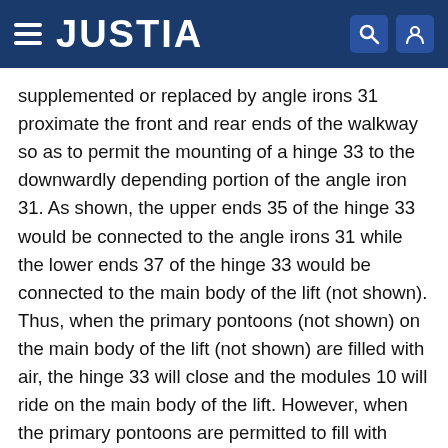JUSTIA
supplemented or replaced by angle irons 31 proximate the front and rear ends of the walkway so as to permit the mounting of a hinge 33 to the downwardly depending portion of the angle iron 31. As shown, the upper ends 35 of the hinge 33 would be connected to the angle irons 31 while the lower ends 37 of the hinge 33 would be connected to the main body of the lift (not shown). Thus, when the primary pontoons (not shown) on the main body of the lift (not shown) are filled with air, the hinge 33 will close and the modules 10 will ride on the main body of the lift. However, when the primary pontoons are permitted to fill with water so as to lower the main body of the lift into the water, the hinge 33 will open to permit the main body of the lift to sink until the hinge 33 is fully opened and the lift is supported by the buoyant walkway modules 10.